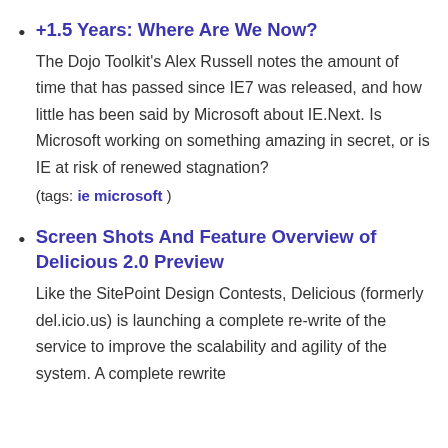+1.5 Years: Where Are We Now? The Dojo Toolkit's Alex Russell notes the amount of time that has passed since IE7 was released, and how little has been said by Microsoft about IE.Next. Is Microsoft working on something amazing in secret, or is IE at risk of renewed stagnation? (tags: ie microsoft )
Screen Shots And Feature Overview of Delicious 2.0 Preview Like the SitePoint Design Contests, Delicious (formerly del.icio.us) is launching a complete re-write of the service to improve the scalability and agility of the system. A complete rewrite